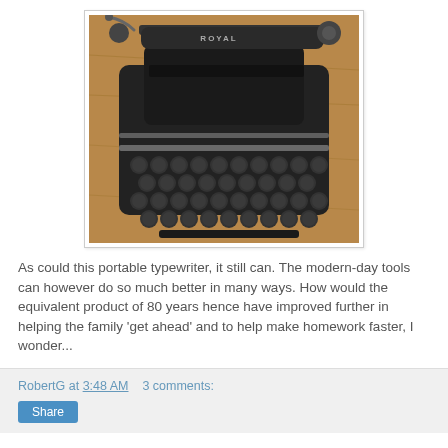[Figure (photo): Photograph of a vintage Royal portable typewriter, black, on a wooden surface, viewed from a three-quarter angle showing the keyboard and top.]
As could this portable typewriter, it still can. The modern-day tools can however do so much better in many ways. How would the equivalent product of 80 years hence have improved further in helping the family 'get ahead' and to help make homework faster, I wonder...
RobertG at 3:48 AM    3 comments:   [Share]